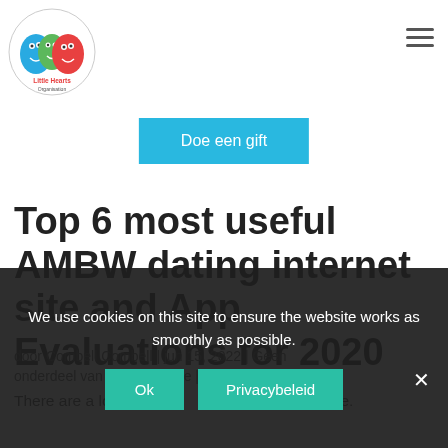[Figure (logo): Little Hearts Organisation circular logo with cartoon heart characters in blue, green, and red]
[Figure (other): Hamburger menu icon (three horizontal lines) in top right corner]
Doe een gift
Top 6 most useful AMBW dating internet site and App Evaluations for 2020
door Combell Combell | jun 15, 2022 | Geen
onderdeel van een categorie | 0 Reacties
There are a lot of ...ially available.
We use cookies on this site to ensure the website works as smoothly as possible.
Ok
Privacybeleid